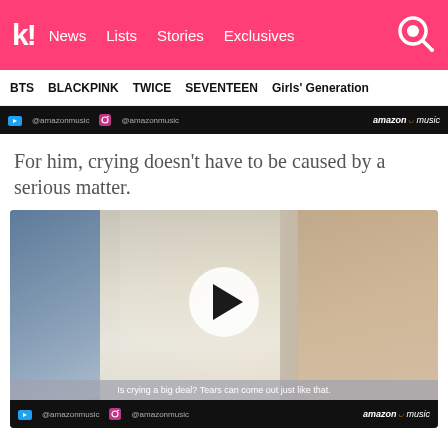k! News  Lists  Stories  Exclusives
BTS  BLACKPINK  TWICE  SEVENTEEN  Girls' Generation
[Figure (screenshot): Amazon Music banner with Twitter and Instagram social handles @amazonmusic on black background]
For him, crying doesn’t have to be caused by a serious matter.
[Figure (screenshot): Embedded video player showing three people, with a play button overlay and subtitle text: 'Is crying a big deal? Tears can come out just like that.' Amazon Music branding at the bottom.]